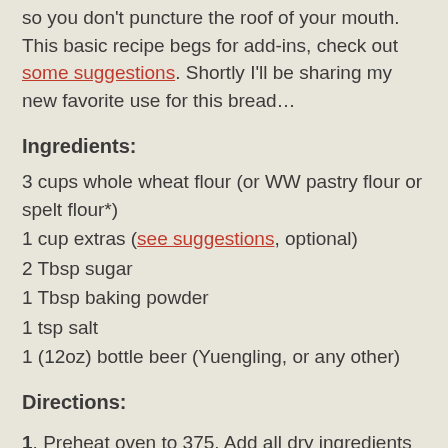so you don't puncture the roof of your mouth. This basic recipe begs for add-ins, check out some suggestions. Shortly I'll be sharing my new favorite use for this bread…
Ingredients:
3 cups whole wheat flour (or WW pastry flour or spelt flour*)
1 cup extras (see suggestions, optional)
2 Tbsp sugar
1 Tbsp baking powder
1 tsp salt
1 (12oz) bottle beer (Yuengling, or any other)
Directions:
1. Preheat oven to 375. Add all dry ingredients to a large bowl, making sure to lightly spoon the flour into